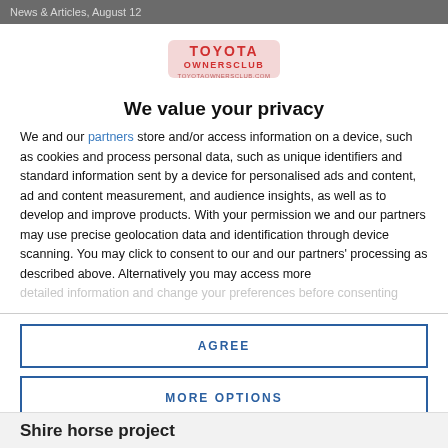News & Articles, August 12
[Figure (logo): Toyota Owners Club logo with red and white text on white background]
We value your privacy
We and our partners store and/or access information on a device, such as cookies and process personal data, such as unique identifiers and standard information sent by a device for personalised ads and content, ad and content measurement, and audience insights, as well as to develop and improve products. With your permission we and our partners may use precise geolocation data and identification through device scanning. You may click to consent to our and our partners' processing as described above. Alternatively you may access more detailed information and change your preferences before consenting
AGREE
MORE OPTIONS
Shire horse project